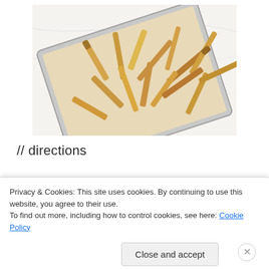[Figure (photo): Overhead photo of roasted parsnip fries on a parchment-lined baking sheet on a white marble surface]
// directions
heat oven to 375°
Privacy & Cookies: This site uses cookies. By continuing to use this website, you agree to their use. To find out more, including how to control cookies, see here: Cookie Policy
Close and accept